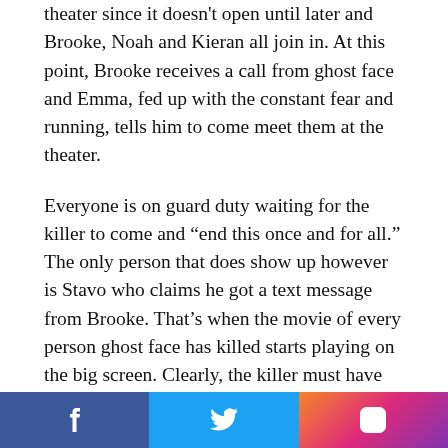theater since it doesn't open until later and Brooke, Noah and Kieran all join in. At this point, Brooke receives a call from ghost face and Emma, fed up with the constant fear and running, tells him to come meet them at the theater.
Everyone is on guard duty waiting for the killer to come and “end this once and for all.” The only person that does show up however is Stavo who claims he got a text message from Brooke. That’s when the movie of every person ghost face has killed starts playing on the big screen. Clearly, the killer must have been inside the whole time. As Emma goes to shut it off, ghost face sneaks up behind Brooke and stabs her.
A lot starts happening here. Kieran tells Emma that Audrey has dissapeared and tells Emma to run from the
Facebook Twitter Instagram